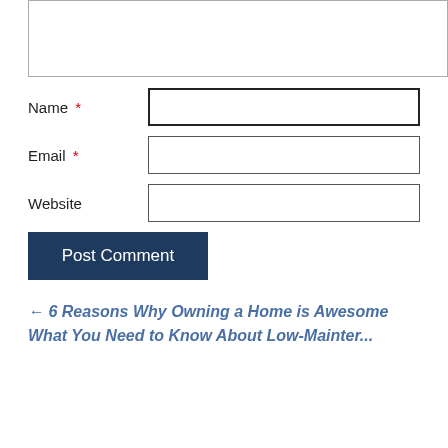[textarea input box]
Name *
Email *
Website
Post Comment
← 6 Reasons Why Owning a Home is Awesome
What You Need to Know About Low-Mainter...